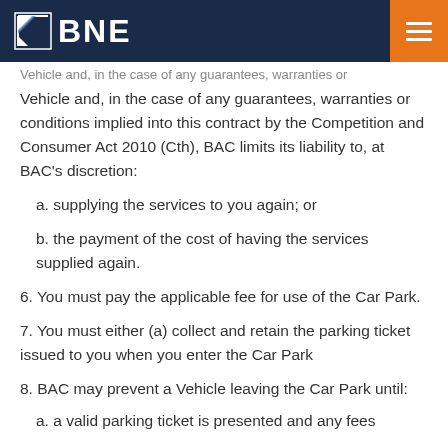BNE
Vehicle and, in the case of any guarantees, warranties or conditions implied into this contract by the Competition and Consumer Act 2010 (Cth), BAC limits its liability to, at BAC's discretion:
a. supplying the services to you again; or
b. the payment of the cost of having the services supplied again.
6. You must pay the applicable fee for use of the Car Park.
7. You must either (a) collect and retain the parking ticket issued to you when you enter the Car Park
8. BAC may prevent a Vehicle leaving the Car Park until:
a. a valid parking ticket is presented and any fees